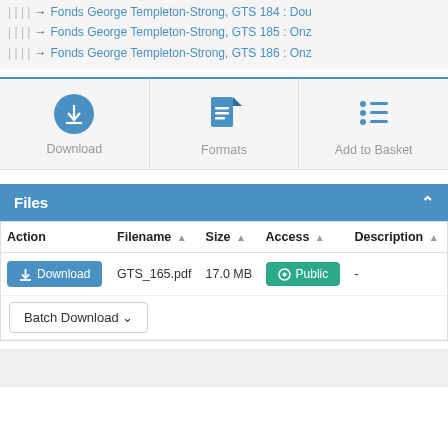→ Fonds George Templeton-Strong, GTS 184 : Dou
→ Fonds George Templeton-Strong, GTS 185 : Onz
→ Fonds George Templeton-Strong, GTS 186 : Onz
[Figure (infographic): Three action buttons: Download (blue circle with down arrow icon), Formats (document icon), Add to Basket (list icon)]
Files
| Action | Filename ↑ | Size ↑ | Access ↑ | Description ↑ |
| --- | --- | --- | --- | --- |
| Download | GTS_165.pdf | 17.0 MB | Public | - |